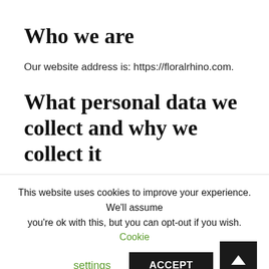Who we are
Our website address is: https://floralrhino.com.
What personal data we collect and why we collect it
Comments
When visitors leave comments on the site we collect the
This website uses cookies to improve your experience. We'll assume you're ok with this, but you can opt-out if you wish. Cookie settings ACCEPT